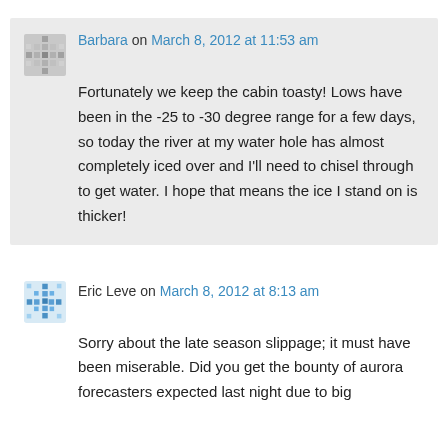Barbara on March 8, 2012 at 11:53 am
Fortunately we keep the cabin toasty! Lows have been in the -25 to -30 degree range for a few days, so today the river at my water hole has almost completely iced over and I'll need to chisel through to get water. I hope that means the ice I stand on is thicker!
Eric Leve on March 8, 2012 at 8:13 am
Sorry about the late season slippage; it must have been miserable. Did you get the bounty of aurora forecasters expected last night due to big